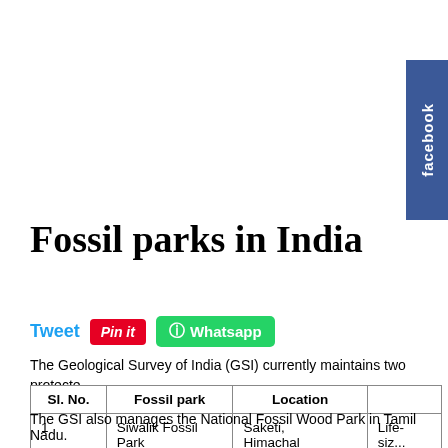[Figure (logo): Facebook social share tab button on right edge, dark blue background with white 'facebook' text rotated vertically]
Fossil parks in India
Tweet  Pin it  Whatsapp
The Geological Survey of India (GSI) currently maintains two protecte...
| Sl. No. | Fossil park | Location |  |
| --- | --- | --- | --- |
| 1 | Siwālik Fossil Park | Saketi,
Himachal Pradesh. | Life-siz...
Siwālik... |
| 2 | Mandla Plant Fossils National Park | Dindori,
Madhya Pradesh. | Fossil r...
—150 n... |
The GSI also manages the National Fossil Wood Park in Tamil Nadu.